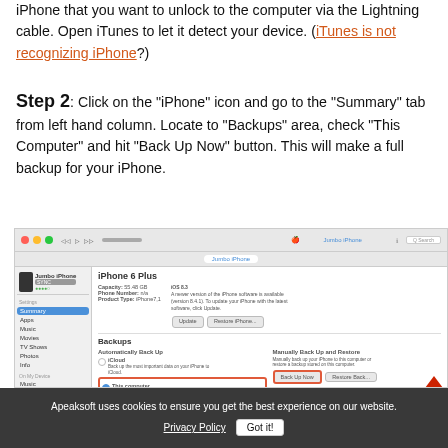iPhone that you want to unlock to the computer via the Lightning cable. Open iTunes to let it detect your device. (iTunes is not recognizing iPhone?)
Step 2: Click on the "iPhone" icon and go to the "Summary" tab from left hand column. Locate to "Backups" area, check "This Computer" and hit "Back Up Now" button. This will make a full backup for your iPhone.
[Figure (screenshot): iTunes interface showing iPhone 6 Plus summary page with Backups section highlighted. 'This Computer' radio button and 'Back Up Now' button are highlighted with red boxes.]
Apeaksoft uses cookies to ensure you get the best experience on our website.